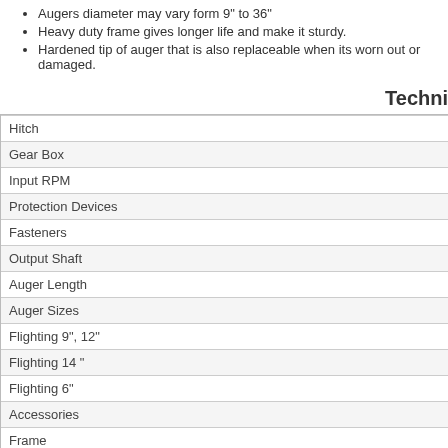Augers diameter may vary form 9" to 36"
Heavy duty frame gives longer life and make it sturdy.
Hardened tip of auger that is also replaceable when its worn out or damaged.
Techni…
|  |
| --- |
| Hitch |
| Gear Box |
| Input RPM |
| Protection Devices |
| Fasteners |
| Output Shaft |
| Auger Length |
| Auger Sizes |
| Flighting 9", 12" |
| Flighting 14 " |
| Flighting 6" |
| Accessories |
| Frame |
| Weight |
* Above Stated data is for Reference Only. Company owns the right to change model specificatio…
| Rotary Tiller (Rotavator) | Disc Plo… |
| --- | --- |
| Tiller Cultivator | Mould Bo… |
| – Spring Loaded Tiller | Ridger / … |